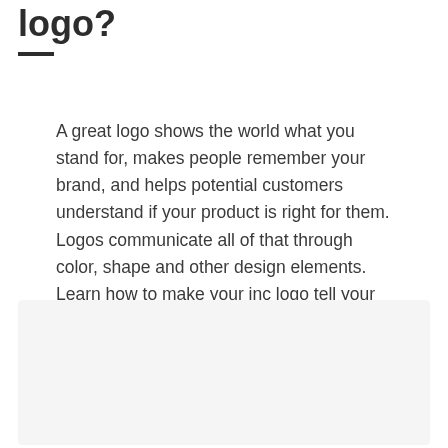logo?
A great logo shows the world what you stand for, makes people remember your brand, and helps potential customers understand if your product is right for them. Logos communicate all of that through color, shape and other design elements. Learn how to make your inc logo tell your brand's story.
[Figure (other): Light gray image placeholder box at the bottom of the page]